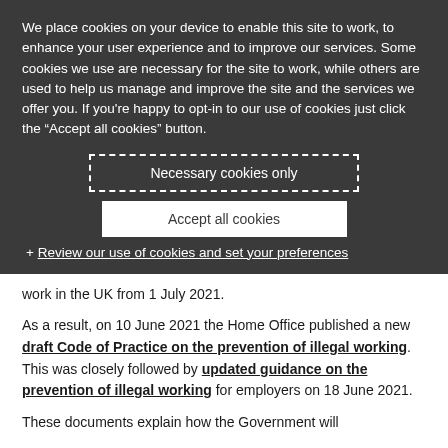We place cookies on your device to enable this site to work, to enhance your user experience and to improve our services. Some cookies we use are necessary for the site to work, while others are used to help us manage and improve the site and the services we offer you. If you're happy to opt-in to our use of cookies just click the "Accept all cookies" button.
Necessary cookies only
Accept all cookies
+ Review our use of cookies and set your preferences
work in the UK from 1 July 2021.
As a result, on 10 June 2021 the Home Office published a new draft Code of Practice on the prevention of illegal working. This was closely followed by updated guidance on the prevention of illegal working for employers on 18 June 2021.
These documents explain how the Government will